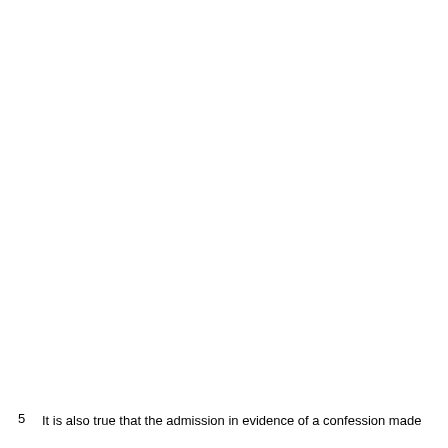5   It is also true that the admission in evidence of a confession made